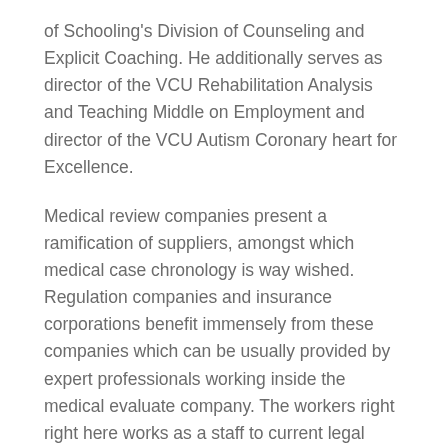of Schooling's Division of Counseling and Explicit Coaching. He additionally serves as director of the VCU Rehabilitation Analysis and Teaching Middle on Employment and director of the VCU Autism Coronary heart for Excellence.
Medical review companies present a ramification of suppliers, amongst which medical case chronology is way wished. Regulation companies and insurance corporations benefit immensely from these companies which can be usually provided by expert professionals working inside the medical evaluate company. The workers right right here works as a staff to current legal professionals the correct data they need that can assist them to shortly create worthwhile methods to win the case in hand. Declare related circumstances may be successfully finalized and choice could also be taken as